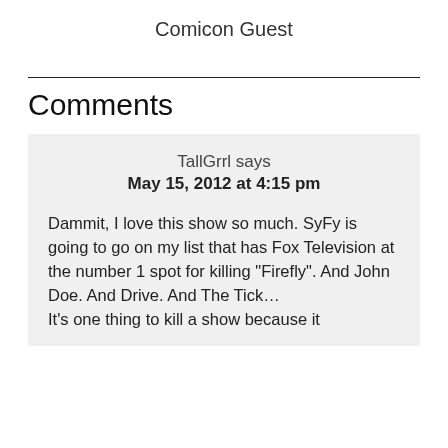Comicon Guest
Comments
TallGrrl says
May 15, 2012 at 4:15 pm

Dammit, I love this show so much. SyFy is going to go on my list that has Fox Television at the number 1 spot for killing "Firefly". And John Doe. And Drive. And The Tick…
It's one thing to kill a show because it